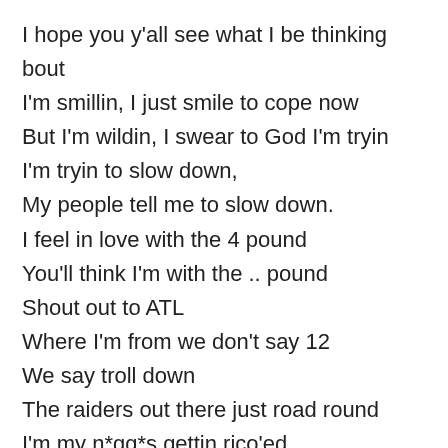I hope you y'all see what I be thinking bout
I'm smillin, I just smile to cope now
But I'm wildin, I swear to God I'm tryin
I'm tryin to slow down,
My people tell me to slow down.
I feel in love with the 4 pound
You'll think I'm with the .. pound
Shout out to ATL
Where I'm from we don't say 12
We say troll down
The raiders out there just road round
I'm my n*gg*s gettin rico'ed
I'm my n*gg*s gettin rico'ed
He ain't tellin cause he G code
Promise he ain't tellin cause he G code
He ain't gon' tell, he a fiend though
If you don't...